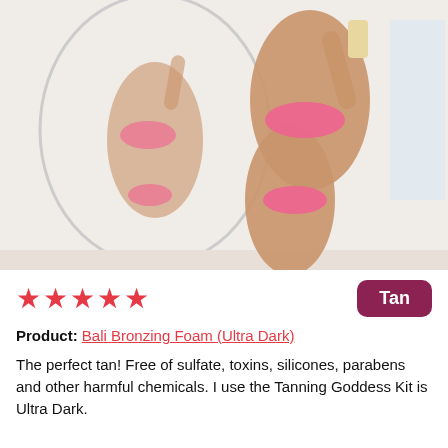[Figure (photo): Woman in pink bikini taking a selfie in a mirror, showing a tanned physique, holding a product bottle. Reflected in a round mirror with white room background.]
★★★★★
Tan
Product: Bali Bronzing Foam (Ultra Dark)
The perfect tan! Free of sulfate, toxins, silicones, parabens and other harmful chemicals. I use the Tanning Goddess Kit is Ultra Dark.